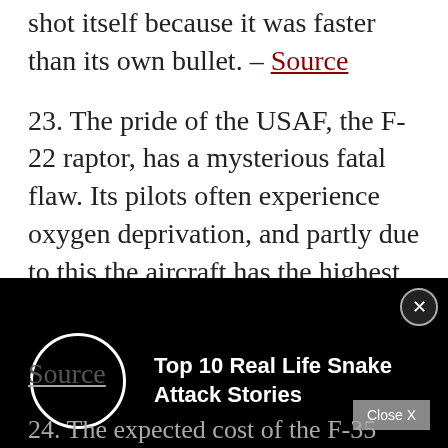22. In 1956 due to high speed a F11 fighter shot itself because it was faster than its own bullet. – Source
23. The pride of the USAF, the F-22 raptor, has a mysterious fatal flaw. Its pilots often experience oxygen deprivation, and partly due to this the aircraft has the highest
[Figure (screenshot): A black video ad overlay showing a circle (play button area) on the left and the text 'Top 10 Real Life Snake Attack Stories' on the right, with a close X button in the top-right corner.]
Source
Close X
24. The expected cost of the F-35 Program